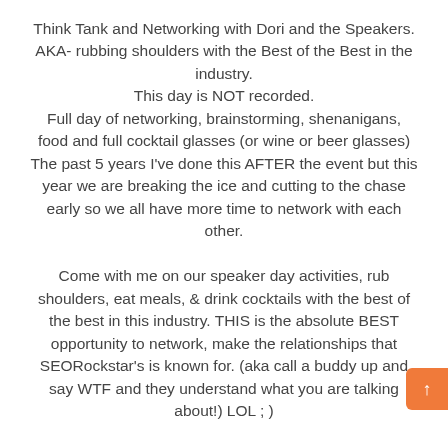Think Tank and Networking with Dori and the Speakers. AKA- rubbing shoulders with the Best of the Best in the industry. This day is NOT recorded. Full day of networking, brainstorming, shenanigans, food and full cocktail glasses (or wine or beer glasses) The past 5 years I've done this AFTER the event but this year we are breaking the ice and cutting to the chase early so we all have more time to network with each other. Come with me on our speaker day activities, rub shoulders, eat meals, & drink cocktails with the best of the best in this industry. THIS is the absolute BEST opportunity to network, make the relationships that SEORockstar's is known for. (aka call a buddy up and say WTF and they understand what you are talking about!) LOL ; ) includes